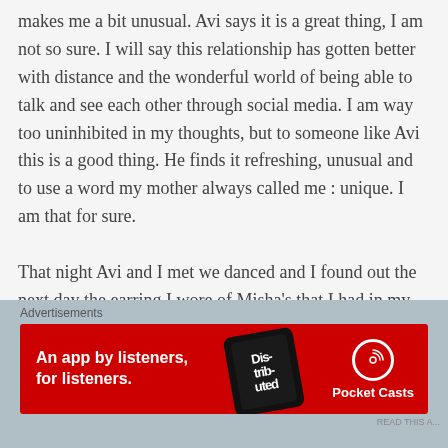makes me a bit unusual. Avi says it is a great thing, I am not so sure. I will say this relationship has gotten better with distance and the wonderful world of being able to talk and see each other through social media. I am way too uninhibited in my thoughts, but to someone like Avi this is a good thing. He finds it refreshing, unusual and to use a word my mother always called me : unique. I am that for sure.

That night Avi and I met we danced and I found out the next day the earring I wore of Misha's that I had in my second ear-piercing was gone. I was devastated. I had already lost one earring from when she had passed that I took from her body before she was cremated. This
Advertisements
[Figure (other): Red banner advertisement for Pocket Casts app. Text reads 'An app by listeners, for listeners.' with a phone showing 'Distributed' text and the Pocket Casts logo.]